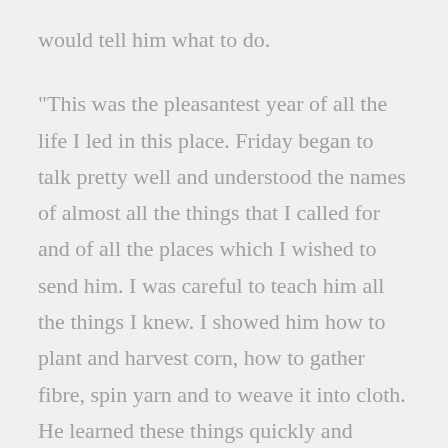would tell him what to do.
"This was the pleasantest year of all the life I led in this place. Friday began to talk pretty well and understood the names of almost all the things that I called for and of all the places which I wished to send him. I was careful to teach him all the things I knew. I showed him how to plant and harvest corn, how to gather fibre, spin yarn and to weave it into cloth. He learned these things quickly and became very skillful in making pots. He knew something about this because at home he had seen the